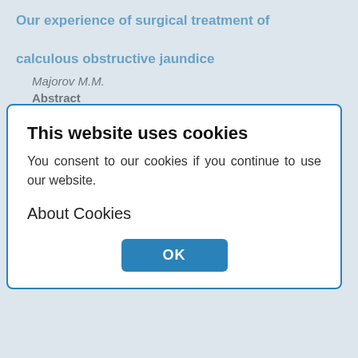Our experience of surgical treatment of calculous obstructive jaundice
Majorov M.M.
Abstract
The analysis of efficacy and safety of different biliary decompression methods in patients
RUDN Journal of Medicine. 2011;(4):149-151
149-151
(RUS) (JATS XML)
Clinical features of small bowel biliary ileus
Ogorodnikov V.A.
Abstract
The analysis of clinical progression and
[Figure (screenshot): Cookie consent modal dialog with title 'This website uses cookies', body text 'You consent to our cookies if you continue to use our website.', 'About Cookies' section, and an OK button in blue.]